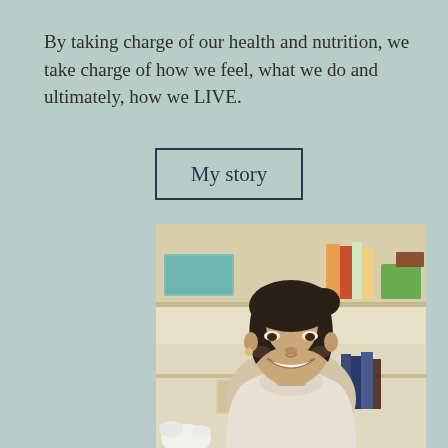By taking charge of our health and nutrition, we take charge of how we feel, what we do and ultimately, how we LIVE.
[Figure (other): A button with text 'My story' with a dark rectangular border on a light sage green background]
[Figure (photo): A smiling woman with dark hair wearing a light grey/cream turtleneck sweater, sitting in front of shelves with boxes and books in the background]